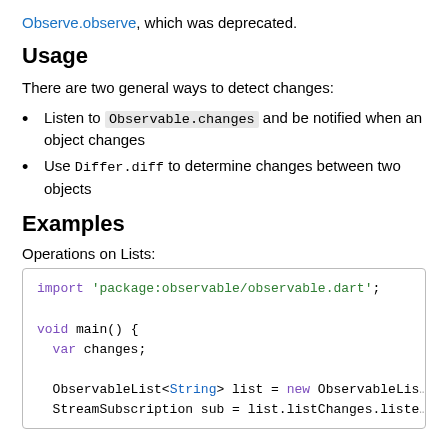Observe.observe, which was deprecated.
Usage
There are two general ways to detect changes:
Listen to Observable.changes and be notified when an object changes
Use Differ.diff to determine changes between two objects
Examples
Operations on Lists:
[Figure (screenshot): Code block showing Dart code: import 'package:observable/observable.dart'; void main() { var changes; ObservableList<String> list = new ObservableLis... StreamSubscription sub = list.listChanges.liste...]